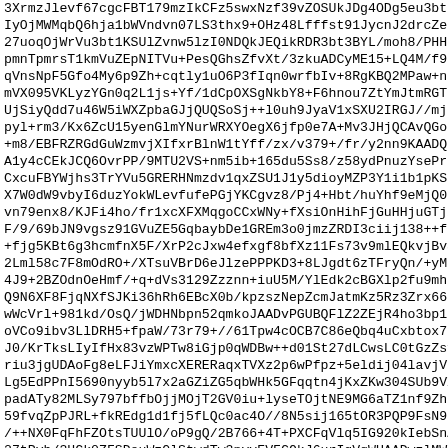3XrmzJlevf67cgcFBT179mzIkCFz5swxNzf39vZOSUkJDg4ODg5eu3bt
IyOjMWMqbQ6hja1bWVndvn07LS3thx9+OHz48Lfffst91JycnJ2drcZe
27uoqOjWrVu3bt1KSUlZvnw5lzI0NDQkJEQikRDR3bt3BYL/moh8/PHH
pmnTpmrsT1kmVuZEpNITVu+PesQGhsZfvXt/3zkuADCyME15+LQ4M/f9
qVnsNpF5Gfo4My6p9Zh+cqtly1uO6P3fIqn0wrfbIv+8RgKBQ2MPaw+n
mVX095VKLyzYGn0q2L1js+Yf/1dCpOXSgNkbY8+F6hnou7ZtYmJtmRGT
UjSiyQdd7u46W5iWXZpbaGJjQUQSoSj++l0uh9JyaV1xSXU2IRGJ//mj
pyl+rm3/Kx6ZcU15yenGlmYNurWRXYOegX6jfp0e7A+Mv3JHjQCAvQGos
+m8/EBFRZRGdGuWzmvjXIfxrBlnW1tYff/zx/v379+/fr/y2nn9KAADQB
A1y4cCEkJCQ6OvrPP/9MTU2VS+nm5ib+165du5Ss8/z58ydPnuzYsePr
CxcuFBYWjhs3TrYVu5GRERHNmzdv1qxZSU1J1y5dioyMZP3Y1i1b1pKSo
X7W0dW9vbyI6duzYokWLevfufePGjYKCgvz8/Pj4+Hbt/huYhf9eMjQ0J
vn79enx8/KJFi4ho/fr1xcXFXMqgoCCxWNy+fXsiOnHihFjGuHHjuGTjx
F/9/69bJN9vgsz91GVuZE5GqbaybDe1GREm3o0jmzZRDI3ciij138++f,
+fjg5KBt6g3hcmfnX5F/XrP2cJxw4efxgf8bfXz11Fs73v9mlEQkvjBvS
2Lml58c7F8mOdRO+/XTsuVBrD6eJlzePPPKD3+8LJgdt6zTFryQn/+yMD
4J9+2BZOdnOeHmf/+q+dVs3129Zzznn+iuU5M/YlEdk2cBGXlp2fu9mha
Q9N6XF8FjqNXfSJKi36hRh6EBcX0b/kpzszNepZcmJatmKz5Rz3Zrx66b
wWcVrl+981kd/OsQ/jWDHNbpn52qmkoJAADvPGUBQFlZ2ZEjR4ho3bp1z
oVCo9ibv3LlDRH5+fpaW/73r79+//61Tpw4cOCB7C86eQbq4uCxbtox7s
J0/KrTksLIyIfHx83vzWPTw8iGjp0qWDBw++d01St27dLCwsLC0tGzZsy
riu3jgUDAoFg8eLFJiYmxcXERERaqxTVXz2p6wPfpz+5eldij04lavjV
Lg5EdPPnI5690nyyb5l7x2aGZiZG5qbWHk5GFqqtn4jKxZKw304SUb9VX
padATy82MLSy797bffbOjjMOjT2GV0iu+lyseTOjtNE9MG6aTZ1nf9Zh
59fvqZpPJRL+fkREdg1d1fj5fLQc0ac4O//8N5sij165tOR3PQP9FsN9b
/++NX0FqFhFZOtsTUUlO/oP9gQ/2B766+4T+PXCFqVlq5IG920kIebSnA
27tPvb/3HCk0ZFSDeuWzOlStwdTw3nvvEVFCQkJ6urIgVqWUAADwzlMWA
+v8aSFRz3HpbW1siOnz48MuXDx06tGfpnoqNi/z8/GSbtRARa6hz7
981vna1WJBJt3bqV3btrxKRJk2S3SbmJiwn6dbLMi7eGzP2UZW5qZ17FRo
vtqciMpFki7fT67+AEEpD56W5hYaW5nX7SI/09nYU+tmRf7RaYpfhV988